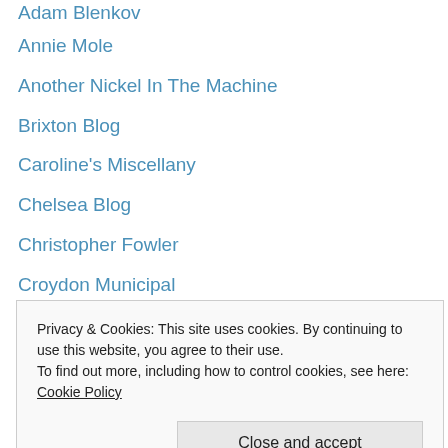Adam Blenkov
Annie Mole
Another Nickel In The Machine
Brixton Blog
Caroline's Miscellany
Chelsea Blog
Christopher Fowler
Croydon Municipal
Diamond Geezer
Digital Urban
Discovering London
How To Be Unemployed
Jane's London
John Coulthart
Route 1 to 499
Privacy & Cookies: This site uses cookies. By continuing to use this website, you agree to their use.
To find out more, including how to control cookies, see here: Cookie Policy